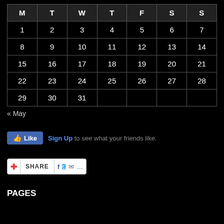| M | T | W | T | F | S | S |
| --- | --- | --- | --- | --- | --- | --- |
| 1 | 2 | 3 | 4 | 5 | 6 | 7 |
| 8 | 9 | 10 | 11 | 12 | 13 | 14 |
| 15 | 16 | 17 | 18 | 19 | 20 | 21 |
| 22 | 23 | 24 | 25 | 26 | 27 | 28 |
| 29 | 30 | 31 |  |  |  |  |
« May
[Figure (other): Facebook Like button with 'Sign Up to see what your friends like' text]
[Figure (other): Share bar with plus icon, SHARE label, and social media icons for Facebook, Twitter, email, and more]
PAGES